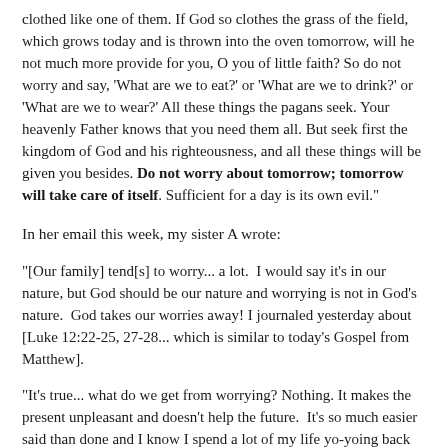clothed like one of them. If God so clothes the grass of the field, which grows today and is thrown into the oven tomorrow, will he not much more provide for you, O you of little faith? So do not worry and say, 'What are we to eat?' or 'What are we to drink?' or 'What are we to wear?' All these things the pagans seek. Your heavenly Father knows that you need them all. But seek first the kingdom of God and his righteousness, and all these things will be given you besides. Do not worry about tomorrow; tomorrow will take care of itself. Sufficient for a day is its own evil."
In her email this week, my sister A wrote:
"[Our family] tend[s] to worry... a lot.  I would say it's in our nature, but God should be our nature and worrying is not in God's nature.  God takes our worries away! I journaled yesterday about [Luke 12:22-25, 27-28... which is similar to today's Gospel from Matthew].
"It's true... what do we get from worrying? Nothing. It makes the present unpleasant and doesn't help the future.  It's so much easier said than done and I know I spend a lot of my life yo-yoing back and forth with God.  God here you go... take my life. But when it seems to be moving in a different direction than I want, I start taking back control.  What good does that do?  Confident assurance in His plan.  That's my theme of the week and boy have